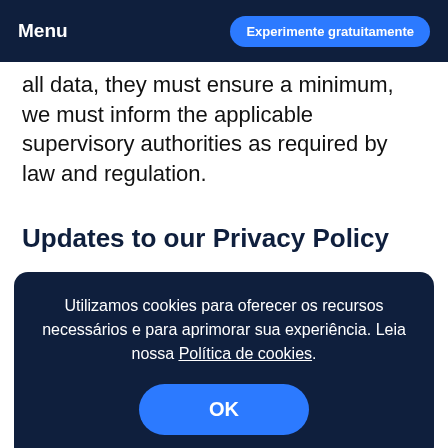Menu | Experimente gratuitamente
all data, they must ensure a minimum, we must inform the applicable supervisory authorities as required by law and regulation.
Updates to our Privacy Policy
At our discretion, we may make changes to
Utilizamos cookies para oferecer os recursos necessários e para aprimorar sua experiência. Leia nossa Política de cookies.
changes. Previous versions will be made